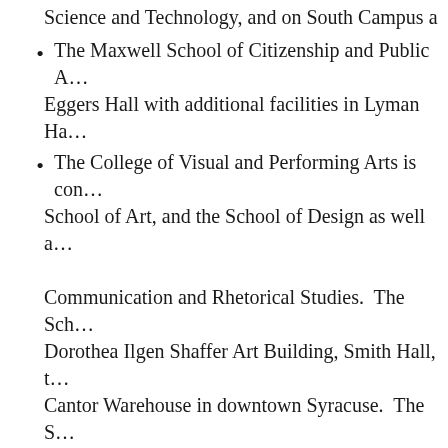Science and Technology, and on South Campus a
The Maxwell School of Citizenship and Public A… Eggers Hall with additional facilities in Lyman Ha…
The College of Visual and Performing Arts is con… School of Art, and the School of Design as well a… Communication and Rhetorical Studies.  The Sch… Dorothea Ilgen Shaffer Art Building, Smith Hall, t… Cantor Warehouse in downtown Syracuse.  The S… College. The Department of Drama is located in … houses Syracuse Stage, a regional equity theater… Communication and Rhetorical Studies is locate… Transmedia is located in the Dorothea Ilgen Shaf…
Departments of Art, Design, Transmedia, Dr[↑]a,… the Setner School of Music.  The Departments…